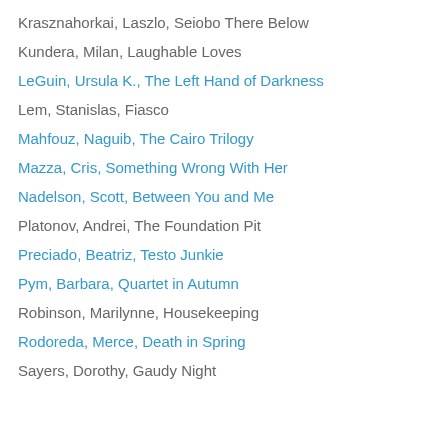Krasznahorkai, Laszlo, Seiobo There Below
Kundera, Milan, Laughable Loves
LeGuin, Ursula K., The Left Hand of Darkness
Lem, Stanislas, Fiasco
Mahfouz, Naguib, The Cairo Trilogy
Mazza, Cris, Something Wrong With Her
Nadelson, Scott, Between You and Me
Platonov, Andrei, The Foundation Pit
Preciado, Beatriz, Testo Junkie
Pym, Barbara, Quartet in Autumn
Robinson, Marilynne, Housekeeping
Rodoreda, Merce, Death in Spring
Sayers, Dorothy, Gaudy Night